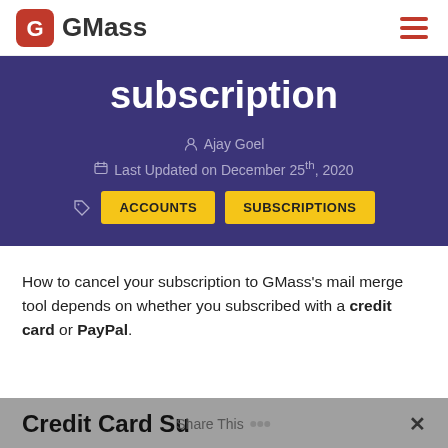GMass
subscription
Ajay Goel
Last Updated on December 25th, 2020
ACCOUNTS   SUBSCRIPTIONS
How to cancel your subscription to GMass's mail merge tool depends on whether you subscribed with a credit card or PayPal.
Credit Card Subscriptions